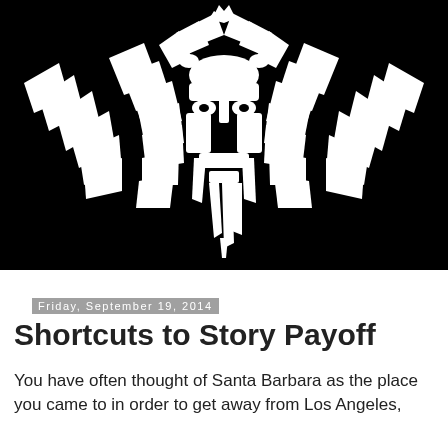[Figure (illustration): Black and white stylized illustration of a winged face/skull with outstretched feathered wings, white on black background, resembling a gothic or metal band logo.]
Friday, September 19, 2014
Shortcuts to Story Payoff
You have often thought of Santa Barbara as the place you came to in order to get away from Los Angeles,